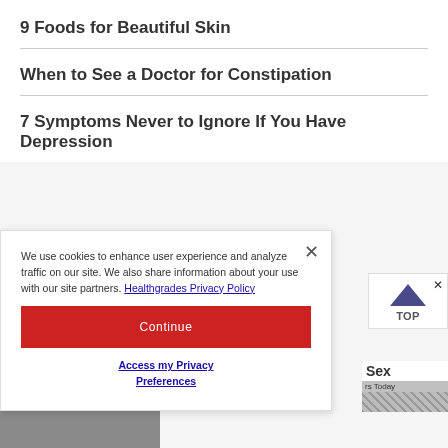9 Foods for Beautiful Skin
When to See a Doctor for Constipation
7 Symptoms Never to Ignore If You Have Depression
We use cookies to enhance user experience and analyze traffic on our site. We also share information about your use with our site partners. Healthgrades Privacy Policy
Continue
Access my Privacy Preferences